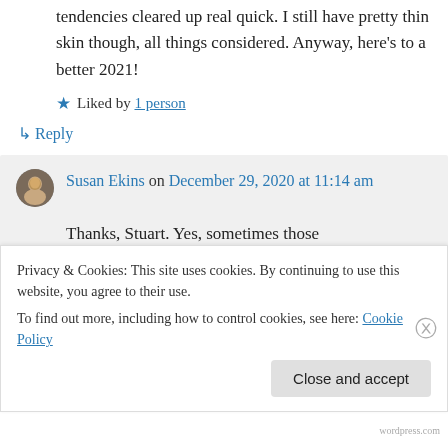tendencies cleared up real quick. I still have pretty thin skin though, all things considered. Anyway, here’s to a better 2021!
★ Liked by 1 person
↳ Reply
Susan Ekins on December 29, 2020 at 11:14 am
Thanks, Stuart. Yes, sometimes those
Privacy & Cookies: This site uses cookies. By continuing to use this website, you agree to their use.
To find out more, including how to control cookies, see here: Cookie Policy
Close and accept